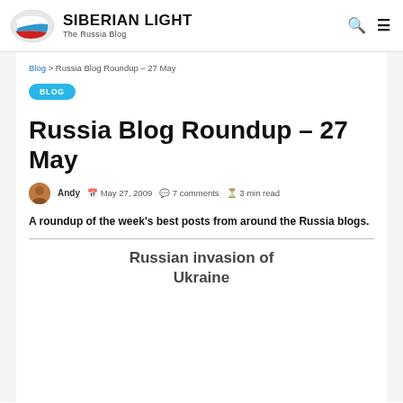SIBERIAN LIGHT – The Russia Blog
Blog > Russia Blog Roundup – 27 May
BLOG
Russia Blog Roundup – 27 May
Andy  May 27, 2009  7 comments  3 min read
A roundup of the week's best posts from around the Russia blogs.
Russian invasion of Ukraine